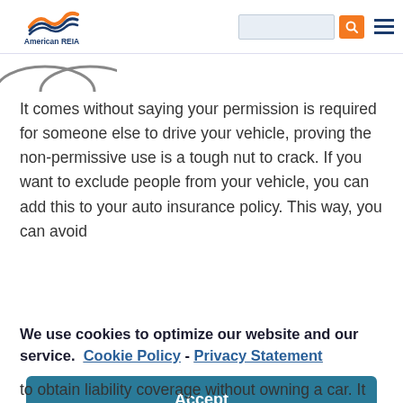American REIA - navigation bar with logo, search box, and menu icon
[Figure (logo): American REIA logo with orange and blue wave graphic and text 'American REIA']
It comes without saying your permission is required for someone else to drive your vehicle, proving the non-permissive use is a tough nut to crack. If you want to exclude people from your vehicle, you can add this to your auto insurance policy. This way, you can avoid
We use cookies to optimize our website and our service.  Cookie Policy - Privacy Statement
Accept
to obtain liability coverage without owning a car. It can